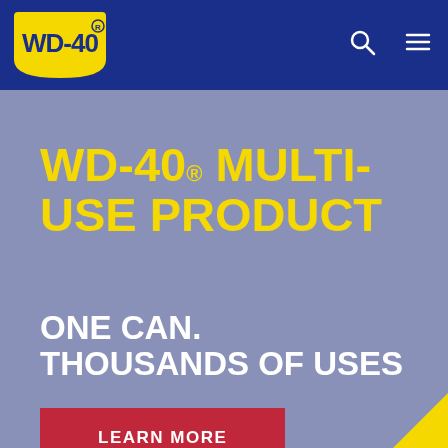[Figure (logo): WD-40 logo: yellow shield shape with WD-40 text in dark blue background header bar]
WD-40® MULTI-USE PRODUCT
ONE CAN. THOUSANDS OF USES
LEARN MORE